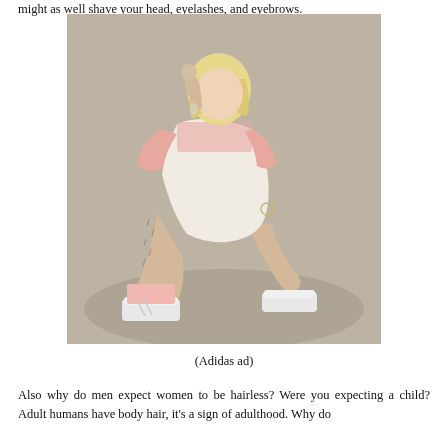might as well shave your head, eyelashes, and eyebrows.
[Figure (photo): A young blonde woman sitting on a draped gray fabric backdrop, wearing a white lace corset dress over a pink sheer top, pink socks, and white Adidas sneakers. She has visible leg hair and is posing with one hand touching her hair and the other resting on her knee.]
(Adidas ad)
Also why do men expect women to be hairless? Were you expecting a child? Adult humans have body hair, it's a sign of adulthood. Why do